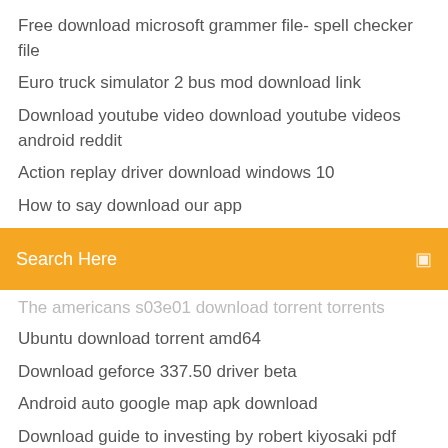Free download microsoft grammer file- spell checker file
Euro truck simulator 2 bus mod download link
Download youtube video download youtube videos android reddit
Action replay driver download windows 10
How to say download our app
Search Here
The americans s03e01 download torrent torrents
Ubuntu download torrent amd64
Download geforce 337.50 driver beta
Android auto google map apk download
Download guide to investing by robert kiyosaki pdf
Download breakaway audio enhancer version 1.3
Download driver for unknown device
How long does does download mode take android
Viki tv pro apk download
Goldfinger dubbed in hindi download torrent
Groove ip lite apk download